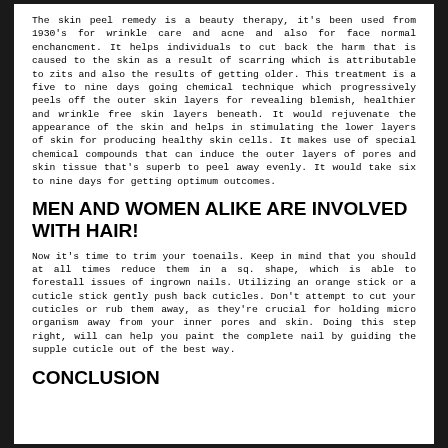The skin peel remedy is a beauty therapy, it's been used from 1930's for wrinkle care and acne and also for face normal enchancment. It helps individuals to cut back the harm that is caused to the skin as a result of scarring which is attributable to zits and also the results of getting older. This treatment is a five to nine days going chemical technique which progressively peels off the outer skin layers for revealing blemish, healthier and wrinkle free skin layers beneath. It would rejuvenate the appearance of the skin and helps in stimulating the lower layers of skin for producing healthy skin cells. It makes use of special chemical compounds that can induce the outer layers of pores and skin tissue that's superb to peel away evenly. It would take six to nine days for getting optimum outcomes.
MEN AND WOMEN ALIKE ARE INVOLVED WITH HAIR!
Now it's time to trim your toenails. Keep in mind that you should at all times reduce them in a sq. shape, which is able to forestall issues of ingrown nails. Utilizing an orange stick or a cuticle stick gently push back cuticles. Don't attempt to cut your cuticles or rub them away, as they're crucial for holding micro organism away from your inner pores and skin. Doing this step right, will can help you paint the complete nail by guiding the supple cuticle out of the best way.
CONCLUSION